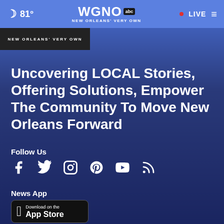🌙 81° | WGNO abc NEW ORLEANS' VERY OWN | • LIVE ≡
[Figure (screenshot): WGNO station image strip with text NEW ORLEANS' VERY OWN]
Uncovering LOCAL Stories, Offering Solutions, Empower The Community To Move New Orleans Forward
Follow Us
[Figure (infographic): Social media icons row: Facebook, Twitter, Instagram, Pinterest, YouTube, RSS]
News App
[Figure (infographic): Download on the App Store badge]